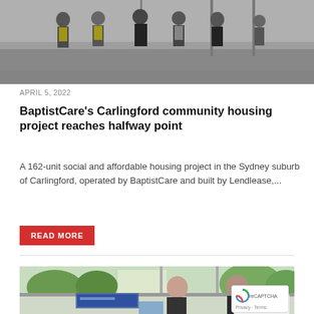[Figure (photo): Group of people in hard hats and high-visibility vests at a construction site]
APRIL 5, 2022
BaptistCare's Carlingford community housing project reaches halfway point
A 162-unit social and affordable housing project in the Sydney suburb of Carlingford, operated by BaptistCare and built by Lendlease,...
READ MORE
[Figure (photo): Two men in dark polo shirts smiling, standing inside a building with glass doors and green foliage outside]